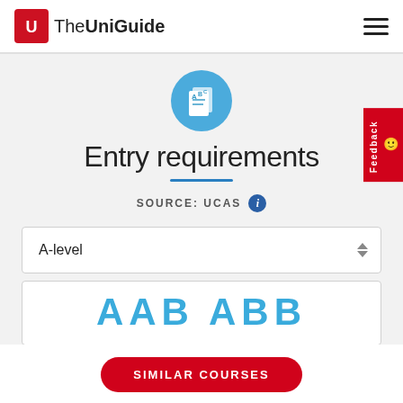The UniGuide
[Figure (illustration): Blue circular icon with ABC document/book illustration]
Entry requirements
SOURCE: UCAS
A-level
AAB ABB
SIMILAR COURSES